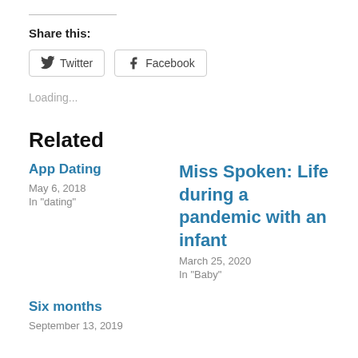Share this:
Twitter   Facebook
Loading...
Related
App Dating
May 6, 2018
In "dating"
Miss Spoken: Life during a pandemic with an infant
March 25, 2020
In "Baby"
Six months
September 13, 2019